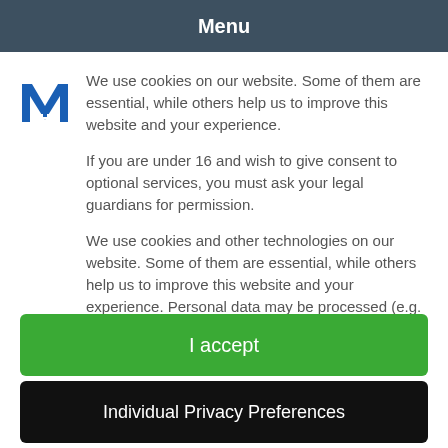Menu
[Figure (logo): Blue M logo with grid/hashtag element at bottom]
We use cookies on our website. Some of them are essential, while others help us to improve this website and your experience.
If you are under 16 and wish to give consent to optional services, you must ask your legal guardians for permission.
We use cookies and other technologies on our website. Some of them are essential, while others help us to improve this website and your experience. Personal data may be processed (e.g. IP addresses), for example for personalized ads and content or ad and
I accept
Individual Privacy Preferences